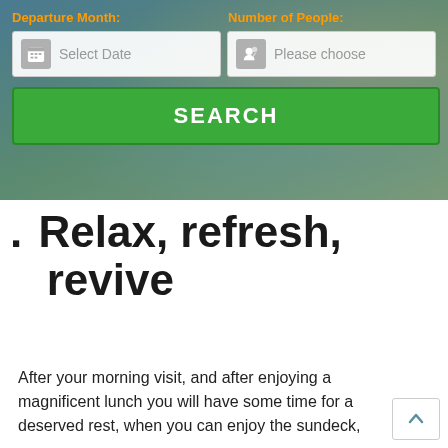[Figure (screenshot): Search form with Departure Month and Number of People fields, Select Date input, Please choose dropdown, and a green SEARCH button, overlaid on a vacation/cruise background image]
Relax, refresh, revive
After your morning visit, and after enjoying a magnificent lunch you will have some time for a deserved rest, when you can enjoy the sundeck,